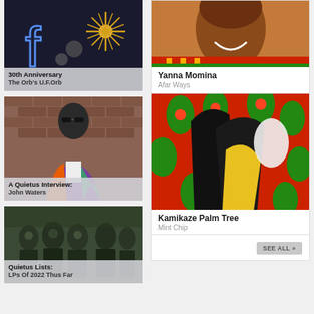[Figure (photo): Photo of The Orb performance or album art with neon light and starburst decoration]
30th Anniversary
The Orb's U.F.Orb
[Figure (photo): Photo of John Waters standing in front of a brick wall wearing a colorful patterned jacket and sunglasses]
A Quietus Interview:
John Waters
[Figure (photo): Black and white photo of a group of people in costumes or masks outdoors]
Quietus Lists:
LPs Of 2022 Thus Far
[Figure (photo): Close-up photo of a smiling woman wearing a colorful garment]
Yanna Momina
Afar Ways
[Figure (photo): Colorful abstract artwork with bold black, yellow, red, and green shapes suggesting tropical foliage]
Kamikaze Palm Tree
Mint Chip